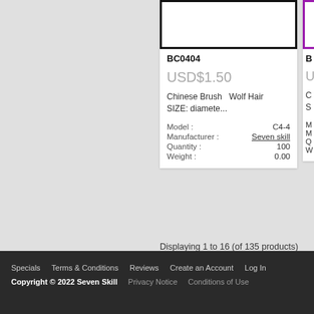[Figure (photo): Product image placeholder white box with thick black border]
BC0404
USD$1.50
Chinese Brush   Wolf Hair SIZE: diamete...
| Model : | C4-4 |
| Manufacturer : | Seven skill |
| Quantity : | 100 |
| Weight : | 0.00 |
[Figure (photo): Partial product image placeholder with purple border, cropped on right edge]
B
U
C
S
M
M
Q
W
Displaying 1 to 16 (of 135 products)
Specials   Terms & Conditions   Reviews   Create an Account   Log In
Copyright © 2022 Seven Skill   Privacy Notice   Conditions of Use